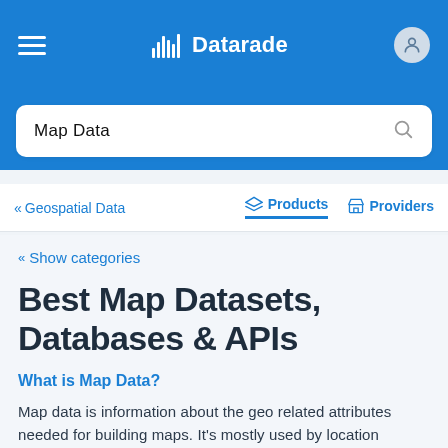Datarade
Map Data
« Geospatial Data    Products    Providers
« Show categories
Best Map Datasets, Databases & APIs
What is Map Data?
Map data is information about the geo related attributes needed for building maps. It's mostly used by location intelligence companies e.g. in creating